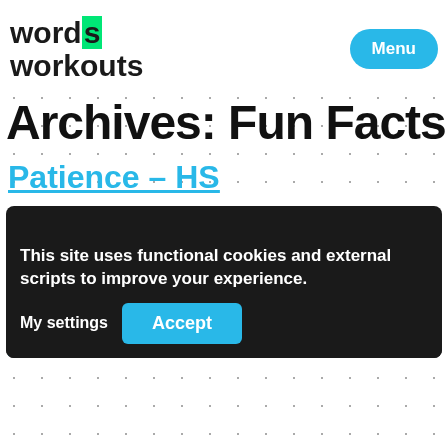word workouts | Menu
Archives: Fun Facts
Patience – HS
Having patience with yourself can lead to great achievement. Although he did not attend school, Frederick Douglass taught himself to read and write at a young age.
This site uses functional cookies and external scripts to improve your experience.
My settings  Accept
Leave a Comment